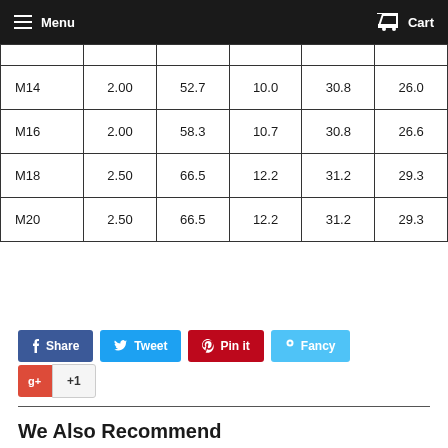Menu   Cart
| M14 | 2.00 | 52.7 | 10.0 | 30.8 | 26.0 |
| M16 | 2.00 | 58.3 | 10.7 | 30.8 | 26.6 |
| M18 | 2.50 | 66.5 | 12.2 | 31.2 | 29.3 |
| M20 | 2.50 | 66.5 | 12.2 | 31.2 | 29.3 |
Share  Tweet  Pin it  Fancy  +1
We Also Recommend